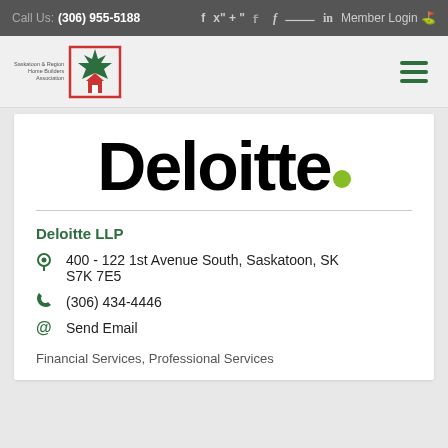Call Us: (306) 955-5188   f  Twitter  in  Member Login
[Figure (logo): Saskatoon & Region Home Builders Association logo with maple leaf icon]
[Figure (logo): Deloitte wordmark in bold black with green dot]
Deloitte LLP
400 - 122 1st Avenue South, Saskatoon, SK S7K 7E5
(306) 434-4446
Send Email
Financial Services, Professional Services